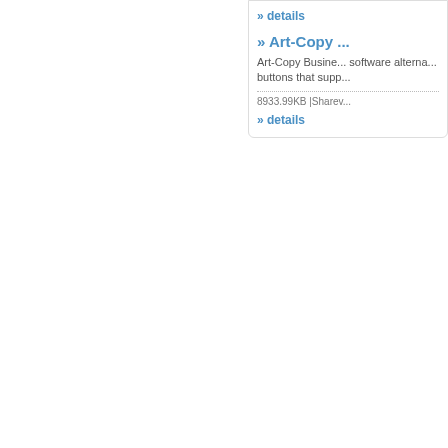» details
» Art-Copy ...
Art-Copy Business ... software alterna... buttons that supp...
8933.99KB |Sharev...
» details
© www.alege.net 2
What Font is | font...
termeni si conditii